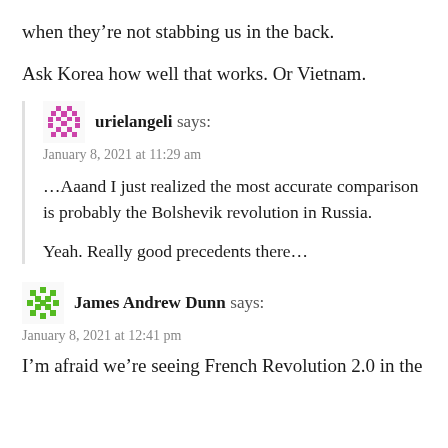when they’re not stabbing us in the back.
Ask Korea how well that works. Or Vietnam.
urielangeli says:
January 8, 2021 at 11:29 am
…Aaand I just realized the most accurate comparison is probably the Bolshevik revolution in Russia.
Yeah. Really good precedents there…
James Andrew Dunn says:
January 8, 2021 at 12:41 pm
I’m afraid we’re seeing French Revolution 2.0 in the